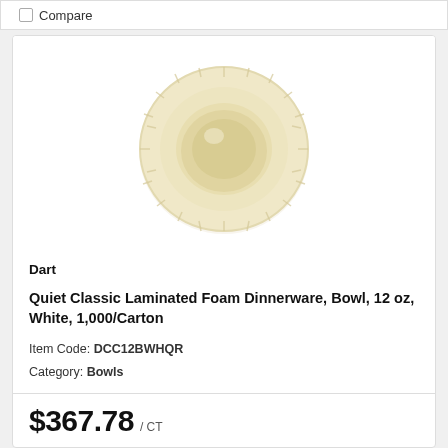Compare
[Figure (photo): Top-down view of a white foam bowl, round with ridged rim, slightly cream-colored, viewed from above showing the interior well of the bowl.]
Dart
Quiet Classic Laminated Foam Dinnerware, Bowl, 12 oz, White, 1,000/Carton
Item Code: DCC12BWHQR
Category: Bowls
$367.78 / CT